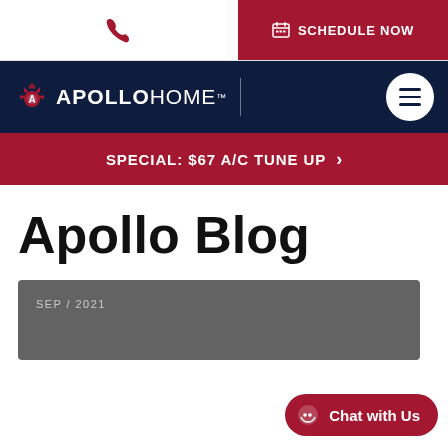[Figure (screenshot): Phone icon in top-left bar]
SCHEDULE NOW
[Figure (logo): Apollo Home logo with sun emblem, APOLLO in bold and HOME in light weight, with TM mark]
SPECIAL: $67 A/C TUNE UP >
Apollo Blog
SEP / 2021
Chat with Us